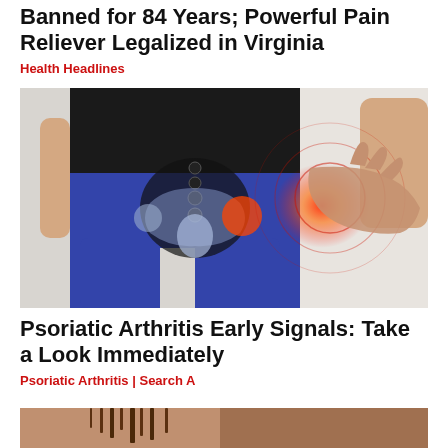Banned for 84 Years; Powerful Pain Reliever Legalized in Virginia
Health Headlines
[Figure (photo): Medical illustration of hip/pelvis area with pain indicator shown as red glowing area on left hip, overlaid on person wearing blue leggings and black top]
Psoriatic Arthritis Early Signals: Take a Look Immediately
Psoriatic Arthritis | Search A
[Figure (photo): Partial photo visible at bottom of page, cropped]